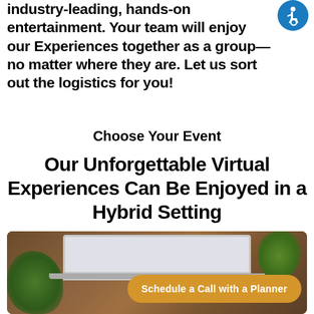industry-leading, hands-on entertainment. Your team will enjoy our Experiences together as a group—no matter where they are. Let us sort out the logistics for you!
[Figure (logo): Blue circular accessibility icon with white wheelchair user symbol]
Choose Your Event
Our Unforgettable Virtual Experiences Can Be Enjoyed in a Hybrid Setting
[Figure (photo): Photo of a laptop on a wooden table with green plants, food items, and a yellow CTA button overlay reading 'Schedule a Call with a Planner']